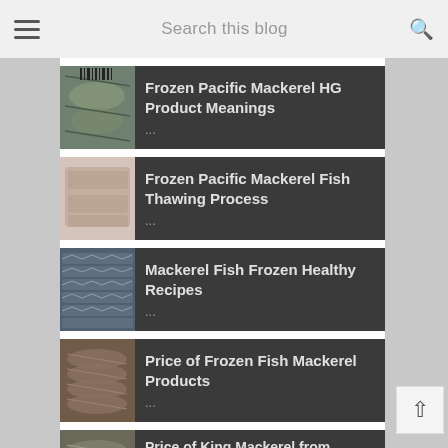Search this blog
RECENT POSTS
Frozen Pacific Mackerel HG Product Meanings
Frozen Pacific Mackerel Fish Thawing Process
Mackerel Fish Frozen Healthy Recipes
Price of Frozen Fish Mackerel Products
Price of King Mackerel from